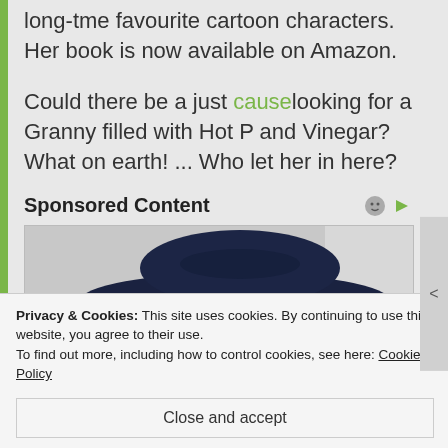long-tme favourite cartoon characters. Her book is now available on Amazon.
Could there be a just causelooking for a Granny filled with Hot P and Vinegar? What on earth! ... Who let her in here?
Sponsored Content
[Figure (photo): Photo of a person wearing a dark navy cowboy hat, partial view showing the hat and top of head against a light background]
Privacy & Cookies: This site uses cookies. By continuing to use this website, you agree to their use. To find out more, including how to control cookies, see here: Cookie Policy
Close and accept